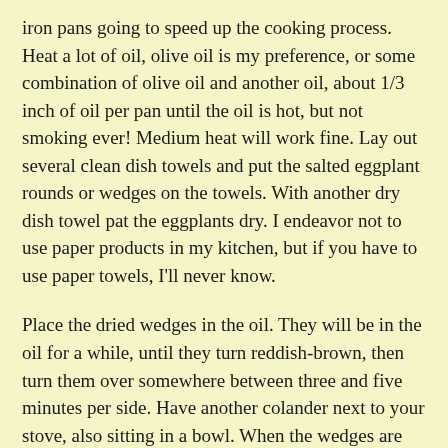iron pans going to speed up the cooking process. Heat a lot of oil, olive oil is my preference, or some combination of olive oil and another oil, about 1/3 inch of oil per pan until the oil is hot, but not smoking ever! Medium heat will work fine. Lay out several clean dish towels and put the salted eggplant rounds or wedges on the towels. With another dry dish towel pat the eggplants dry. I endeavor not to use paper products in my kitchen, but if you have to use paper towels, I'll never know.
Place the dried wedges in the oil. They will be in the oil for a while, until they turn reddish-brown, then turn them over somewhere between three and five minutes per side. Have another colander next to your stove, also sitting in a bowl. When the wedges are reddish-brown on both sides, take them out with a fork, letting as much oil as you can drip back into the pan, and put them in the clean colander. This process is the time-consuming part of this adventure in cuisine. It will take about 40 minutes to an hour or more